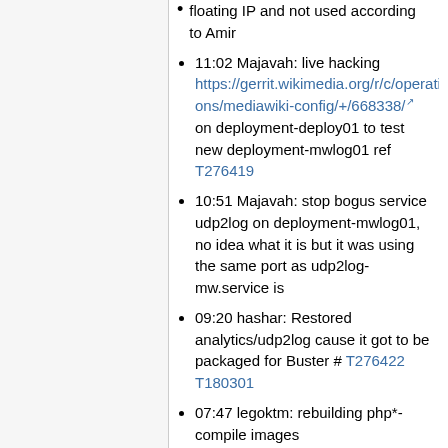floating IP and not used according to Amir
11:02 Majavah: live hacking https://gerrit.wikimedia.org/r/c/operations/mediawiki-config/+/668338/ on deployment-deploy01 to test new deployment-mwlog01 ref T276419
10:51 Majavah: stop bogus service udp2log on deployment-mwlog01, no idea what it is but it was using the same port as udp2log-mw.service is
09:20 hashar: Restored analytics/udp2log cause it got to be packaged for Buster # T276422 T180301
07:47 legoktm: rebuilding php*-compile images https://gerrit.wikimedia.org/r/668259
06:22 Majavah: create Buster VM...